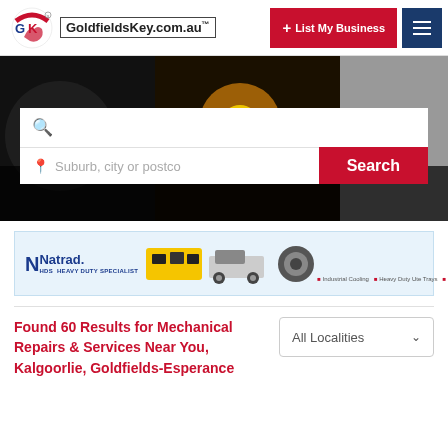[Figure (logo): GoldfieldsKey.com.au logo with red/blue kangaroo icon and site name]
[Figure (screenshot): Hero banner with blurred background images (people, yellow light, dark overlay) and search bar with location field]
[Figure (photo): Natrad HDS Heavy Duty Specialist advertisement banner for Kalgoorlie, phone 08 9021 6550, services: Industrial Cooling, Heavy Duty Ute Trays, Diesel Particulate Filter Cleaning]
Found 60 Results for Mechanical Repairs & Services Near You, Kalgoorlie, Goldfields-Esperance